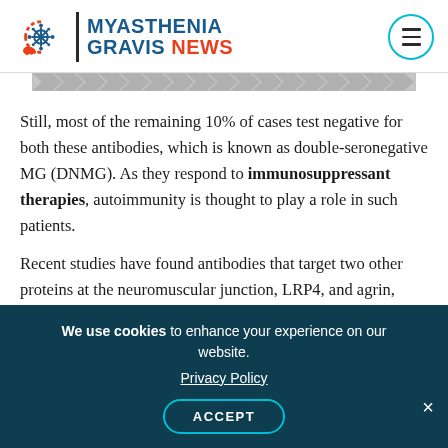MYASTHENIA GRAVIS NEWS
[Figure (other): Partial decorative image strip with chevron/arrow pattern]
Still, most of the remaining 10% of cases test negative for both these antibodies, which is known as double-seronegative MG (DNMG). As they respond to immunosuppressant therapies, autoimmunity is thought to play a role in such patients.
Recent studies have found antibodies that target two other proteins at the neuromuscular junction, LRP4, and agrin, particularity in DNMG patients. As these antibodies induce MG in animal models, they
We use cookies to enhance your experience on our website. Privacy Policy ACCEPT